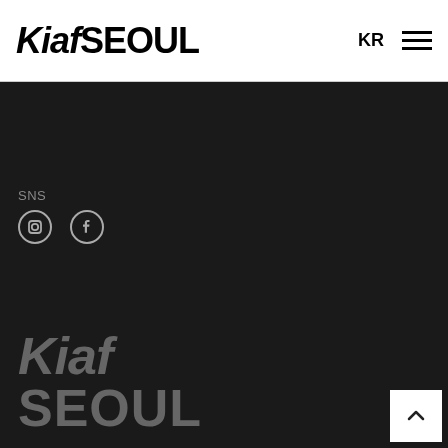Kiaf SEOUL
KR
SNS
[Figure (logo): Social media icons: Instagram and Facebook circle icons in grey/white on dark background]
[Figure (logo): Kiaf SEOUL footer logo in grey italic style on dark background]
@ Copyright Kiaf SEOUL
Terms & Conditions | Privacy Policy | Site by BATON